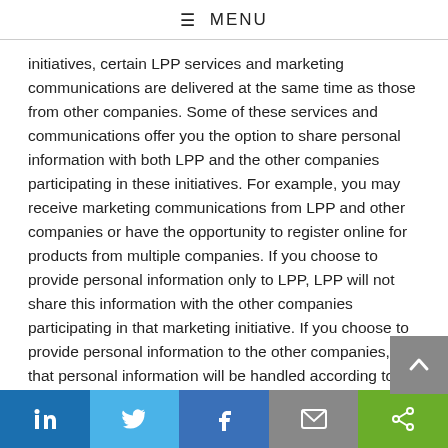≡ MENU
initiatives, certain LPP services and marketing communications are delivered at the same time as those from other companies. Some of these services and communications offer you the option to share personal information with both LPP and the other companies participating in these initiatives. For example, you may receive marketing communications from LPP and other companies or have the opportunity to register online for products from multiple companies. If you choose to provide personal information only to LPP, LPP will not share this information with the other companies participating in that marketing initiative. If you choose to provide personal information to the other companies, that personal information will be handled according to the privacy policy of those companies.